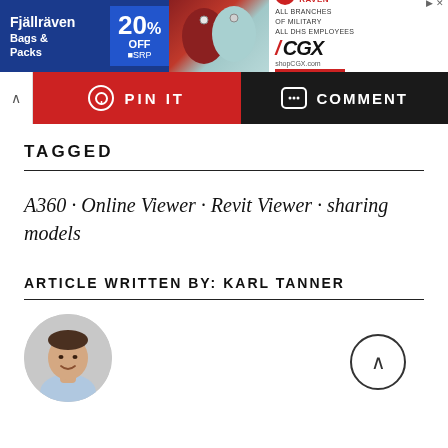[Figure (screenshot): Advertisement banner for Fjällräven bags and CGX military discount - 20% off MSRP]
[Figure (screenshot): Social sharing bar with PIN IT (red) and COMMENT (black) buttons, and collapse arrow]
TAGGED
A360 · Online Viewer · Revit Viewer · sharing models
ARTICLE WRITTEN BY: KARL TANNER
[Figure (photo): Circular author photo of Karl Tanner, a man in a light blue shirt, smiling]